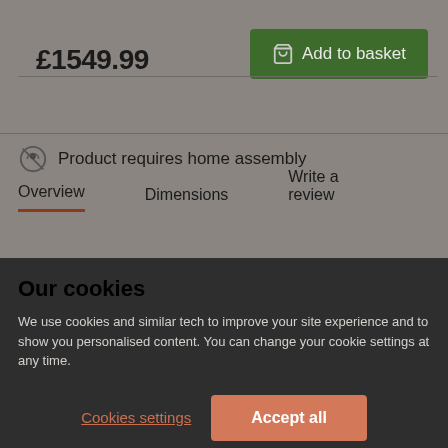£1549.99
Add to basket
Overview
Dimensions
Write a review
Product requires home assembly
Specifications >
Our cookies
We use cookies and similar tech to improve your site experience and to show you personalised content. You can change your cookie settings at any time.
Cookies settings
Accept all